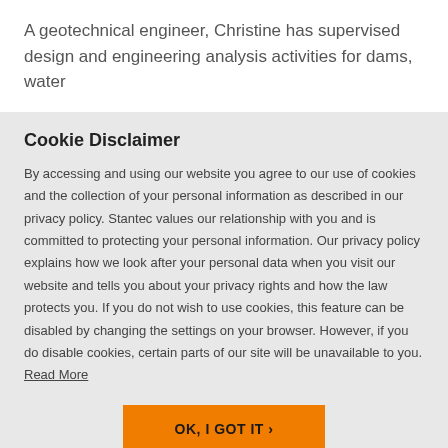A geotechnical engineer, Christine has supervised design and engineering analysis activities for dams, water
Cookie Disclaimer
By accessing and using our website you agree to our use of cookies and the collection of your personal information as described in our privacy policy. Stantec values our relationship with you and is committed to protecting your personal information. Our privacy policy explains how we look after your personal data when you visit our website and tells you about your privacy rights and how the law protects you. If you do not wish to use cookies, this feature can be disabled by changing the settings on your browser. However, if you do disable cookies, certain parts of our site will be unavailable to you. Read More
OK, I GOT IT ›